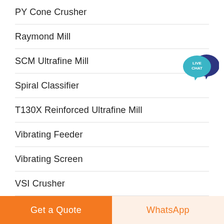PY Cone Crusher
Raymond Mill
SCM Ultrafine Mill
Spiral Classifier
T130X Reinforced Ultrafine Mill
Vibrating Feeder
Vibrating Screen
VSI Crusher
[Figure (illustration): Live Chat speech bubble badge with teal/dark blue colors and white text 'LIVE CHAT']
Get a Quote | WhatsApp